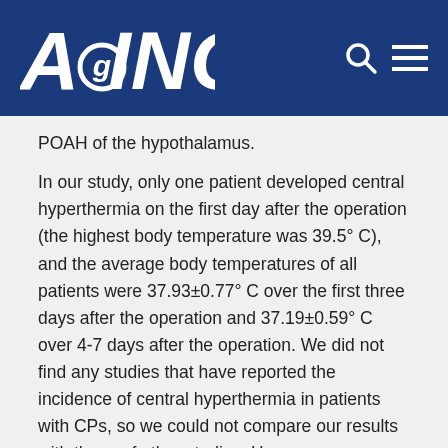AGING
POAH of the hypothalamus.
In our study, only one patient developed central hyperthermia on the first day after the operation (the highest body temperature was 39.5° C), and the average body temperatures of all patients were 37.93±0.77° C over the first three days after the operation and 37.19±0.59° C over 4-7 days after the operation. We did not find any studies that have reported the incidence of central hyperthermia in patients with CPs, so we could not compare our results with those of other studies. However, some studies have reported that central hyperthermia might result in postoperative death [21, 22]. A lower incidence of complications related to hypothalamic injury was also achieved in this study compared to a previous study without the preoperative location of the POAH published by our institute (new-onset diabetes